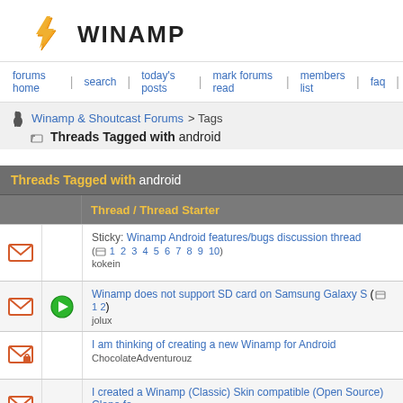WINAMP
forums home | search | today's posts | mark forums read | members list | faq |
Winamp & Shoutcast Forums > Tags
Threads Tagged with android
|  | Thread / Thread Starter |
| --- | --- |
|  | Sticky: Winamp Android features/bugs discussion thread ( 1 2 3 4 5 6 7 8 9 10 ) kokein |
|  | Winamp does not support SD card on Samsung Galaxy S ( 1 2 ) jolux |
|  | I am thinking of creating a new Winamp for Android ChocolateAdventurouz |
|  | I created a Winamp (Classic) Skin compatible (Open Source) Clone fo Acoustix Audio |